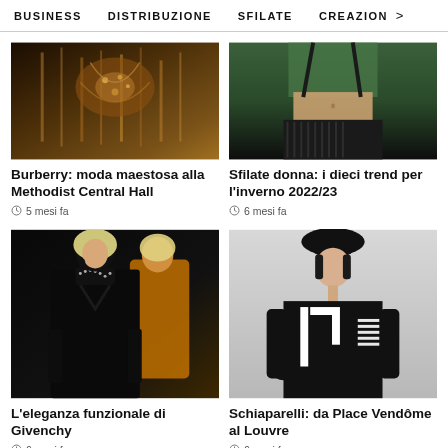BUSINESS   DISTRIBUZIONE   SFILATE   CREAZION >
[Figure (photo): Close-up of Burberry fashion show with ornate embellished garment in gold/brown tones]
Burberry: moda maestosa alla Methodist Central Hall
5 mesi fa
[Figure (photo): Female model midriff with green top and dark patterned skirt at fashion show]
Sfilate donna: i dieci trend per l'inverno 2022/23
6 mesi fa
[Figure (photo): Givenchy runway show: blonde model in black leather turtleneck with studded collar, second model in yellow/orange in background]
L'eleganza funzionale di Givenchy
6 mesi fa
[Figure (photo): Schiaparelli: model in black beret and black dress with bold geometric white stripe pattern, black and white tones]
Schiaparelli: da Place Vendôme al Louvre
6 mesi fa